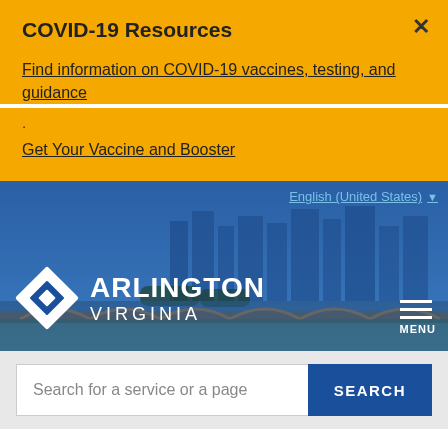COVID-19 Resources
Find information on COVID-19 vaccines, testing, and guidance
.
Get Your Vaccine and Booster
[Figure (screenshot): Arlington Virginia government website header with blue background showing city skyline and bridge, with white Arlington Virginia logo and diamond shape icon]
English (United States) ▼
Search for a service or a page
SEARCH
Home / Government / Resources For Immigrants